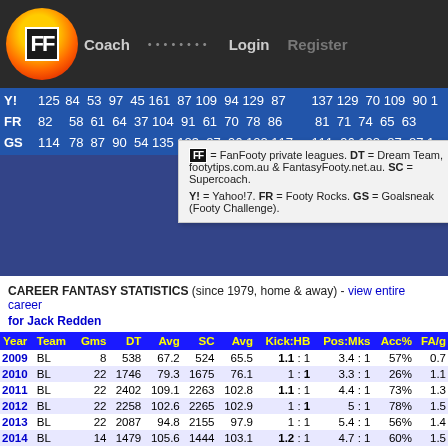FF Coach ........ Login Register
|  |  |  |
| --- | --- | --- |
| Y! | 125 | 84 53 97 45 161 87 109 94 129 87 | 137 129 70 109 90 1 |
| FR | 82 | 58 61 64 37 104 91 61 70 78 86 | 81 71 74 65 63 |
| GS | 114 | 78 87 90 54 135 123 87 96 102 117 | 111 96 102 87 87 1 |
FF = FanFooty private leagues. DT = Dream Team, footytips.com.au & FantasyFooty.net.au. SC = Supercoach. Y! = Yahoo!7. FR = Footy Rocks. GS = Goalsneak (Footy Challenge).
CAREER FANTASY STATISTICS (since 1979, home & away) - view entire career for Jack Redden
| Year | Team | Gms | DT | Avg | SC | Avg | Kick:HB | Pos:Mks | Acc% | FA/g |
| --- | --- | --- | --- | --- | --- | --- | --- | --- | --- | --- |
| 2009 | BL | 8 | 538 | 67.2 | 524 | 65.5 | 1.1 : 1 | 3.4 : 1 | 57% | 0.7 |
| 2010 | BL | 22 | 1746 | 79.3 | 1675 | 76.1 | 1 : 1 | 3.3 : 1 | 26% | 1.1 |
| 2011 | BL | 22 | 2402 | 109.1 | 2263 | 102.8 | 1.1 : 1 | 4.4 : 1 | 73% | 1.3 |
| 2012 | BL | 22 | 2258 | 102.6 | 2265 | 102.9 | 1 : 1 | 5 : 1 | 78% | 1.5 |
| 2013 | BL | 22 | 2087 | 94.8 | 2155 | 97.9 | 1 : 1 | 5.4 : 1 | 56% | 1.4 |
| 2014 | BL | 14 | 1479 | 105.6 | 1444 | 103.1 | 1.2 : 1 | 4.7 : 1 | 60% | 1.5 |
| 2015 | BL | 17 | 1649 | 97 | 1617 | 95.1 | 1 : 1 | 4.8 : 1 | 66% | 1.5 |
| 2016 | WC | 15 | 973 | 64.8 | 963 | 64.2 | 1 : 1.3 | 5.7 : 1 | 55% | 1.6 |
| 2017 | WC | 17 | 1420 | 83.5 | 1353 | 79.5 | 1 : 1.1 | 4.3 : 1 | 80% | 1.2 |
| 2018 | WC | 22 | 2117 | 96.2 | 2097 | 95.3 | 1.1 : 1 | 4.9 : 1 | 66% | 1.2 |
| 2019 | WC | 21 | 1928 | 91.8 | 1877 | 89.3 | 1 : 1.1 | 4.7 : 1 | 0% | 0.9 |
| 2020 | WC | 12 | 696 | 58 | 844 | 70.3 | 1 : 1 | 4.7 : 1 | 50% | 0.5 |
| 2021 | WC | 18 | 1687 | 93.7 | 1644 | 91.3 | 1 : 1.1 | 4.2 : 1 | 75% | 0.7 |